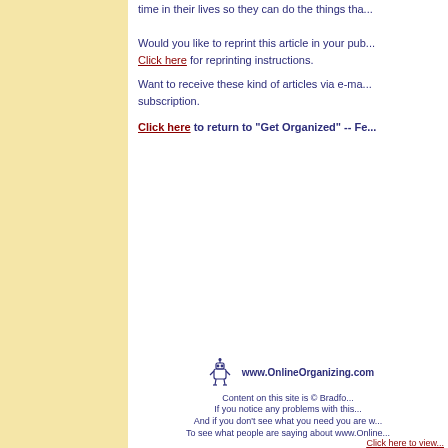time in their lives so they can do the things tha...
Would you like to reprint this article in your pub... Click here for reprinting instructions.
Want to receive these kind of articles via e-ma... subscription.
Click here to return to "Get Organized" -- Fe...
[Figure (logo): Small robot/figure icon for OnlineOrganizing.com]
www.OnlineOrganizing.com
Content on this site is © Bradfo...
If you notice any problems with this...
And if you don't see what you need you are w...
To see what people are saying about www.Online...
Click here to view...